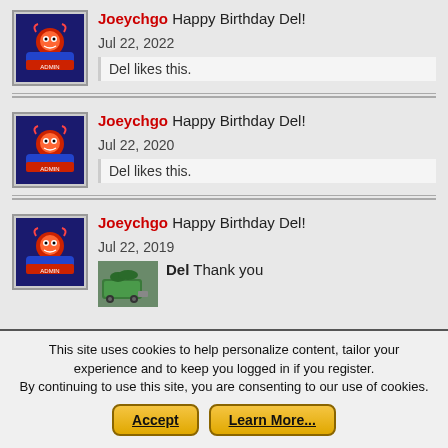Joeychgo Happy Birthday Del!
Jul 22, 2022
Del likes this.
Joeychgo Happy Birthday Del!
Jul 22, 2020
Del likes this.
Joeychgo Happy Birthday Del!
Jul 22, 2019
Del Thank you
This site uses cookies to help personalize content, tailor your experience and to keep you logged in if you register.
By continuing to use this site, you are consenting to our use of cookies.
Accept
Learn More...